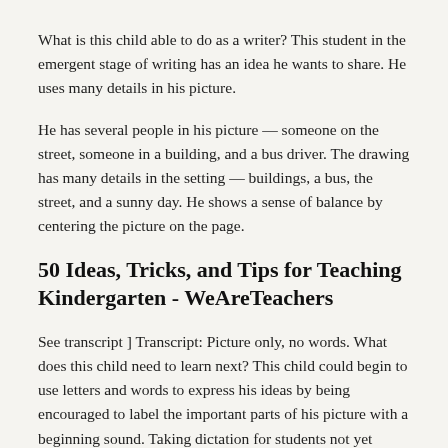What is this child able to do as a writer? This student in the emergent stage of writing has an idea he wants to share. He uses many details in his picture.
He has several people in his picture — someone on the street, someone in a building, and a bus driver. The drawing has many details in the setting — buildings, a bus, the street, and a sunny day. He shows a sense of balance by centering the picture on the page.
50 Ideas, Tricks, and Tips for Teaching Kindergarten - WeAreTeachers
See transcript ] Transcript: Picture only, no words. What does this child need to learn next? This child could begin to use letters and words to express his ideas by being encouraged to label the important parts of his picture with a beginning sound. Taking dictation for students not yet fluent in writing allows students to see how oral language is translated into a written